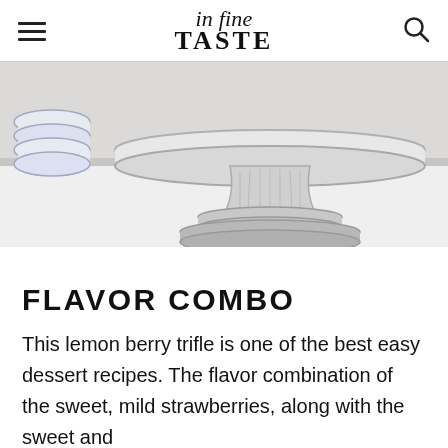in fine TASTE
[Figure (photo): A glass cake stand with a pedestal base, partially visible, on a white surface. Stacked blue and white plates visible on the left side.]
FLAVOR COMBO
This lemon berry trifle is one of the best easy dessert recipes. The flavor combination of the sweet, mild strawberries, along with the sweet and